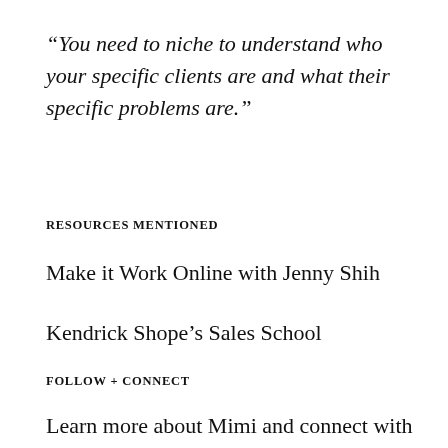“You need to niche to understand who your specific clients are and what their specific problems are.”
RESOURCES MENTIONED
Make it Work Online with Jenny Shih
Kendrick Shope’s Sales School
FOLLOW + CONNECT
Learn more about Mimi and connect with her online: